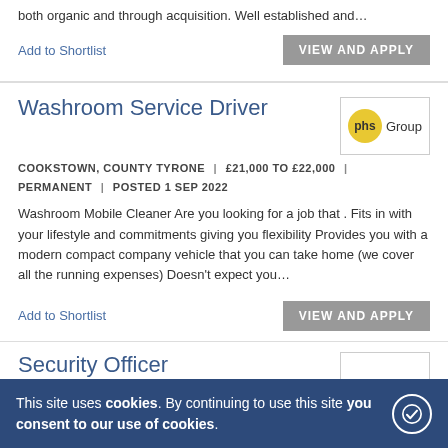both organic and through acquisition. Well established and…
Add to Shortlist
VIEW AND APPLY
Washroom Service Driver
COOKSTOWN, COUNTY TYRONE  |  £21,000 TO £22,000  |  PERMANENT  |  POSTED 1 SEP 2022
Washroom Mobile Cleaner Are you looking for a job that . Fits in with your lifestyle and commitments giving you flexibility Provides you with a modern compact company vehicle that you can take home (we cover all the running expenses) Doesn't expect you…
Add to Shortlist
VIEW AND APPLY
Security Officer
DUNGAN… | … | PERMAN… | POSTED 1 SEP 2022
BardWo… Retail Support Services are now looking for a Retail security…
This site uses cookies. By continuing to use this site you consent to our use of cookies.